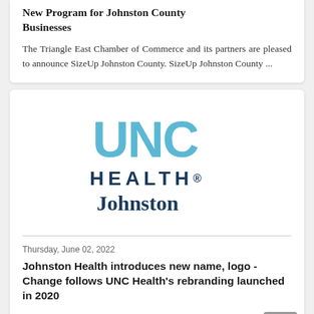New Program for Johnston County Businesses
The Triangle East Chamber of Commerce and its partners are pleased to announce SizeUp Johnston County. SizeUp Johnston County ...
[Figure (logo): UNC Health Johnston logo — 'UNC' in large light blue sans-serif letters, 'HEALTH.' in dark navy spaced capitals, 'Johnston' in dark navy bold serif below]
Thursday, June 02, 2022
Johnston Health introduces new name, logo - Change follows UNC Health's rebranding launched in 2020
(SMITHFIELD, NC) – Johnston Health is changing its name and logo to more closely